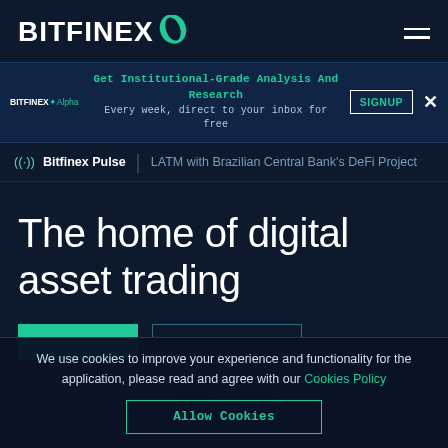BITFINEX
Get Institutional-Grade Analysis And Research Every week, direct to your inbox for free
SIGNUP
Bitfinex Pulse | LATM with Brazilian Central Bank's DeFi Project
The home of digital asset trading
We use cookies to improve your experience and functionality for the application, please read and agree with our Cookies Policy
Allow Cookies